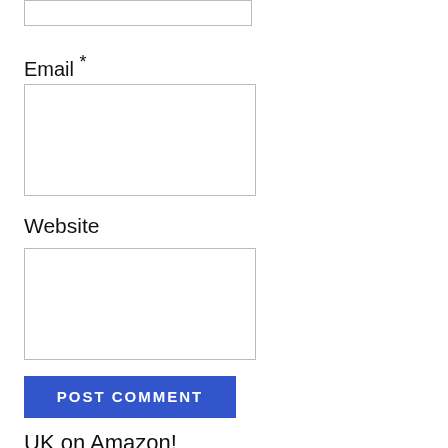[Figure (screenshot): Top portion of a comment form input field (cut off at top)]
Email *
[Figure (screenshot): Email input text field, empty]
Website
[Figure (screenshot): Website input text field, empty]
[Figure (screenshot): POST COMMENT submit button in blue]
UK on Amazon!
[Figure (photo): Blue University of Kentucky banner/flag hanging from a rod]
[Figure (photo): Dark grey University of Kentucky hoodie/sweatshirt]